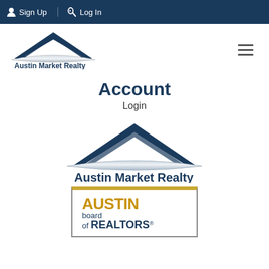Sign Up  Log In
[Figure (logo): Austin Market Realty logo - small, top left]
Account
Login
[Figure (logo): Austin Market Realty logo - large, center]
[Figure (logo): Austin Board of REALTORS logo - partially visible at bottom]